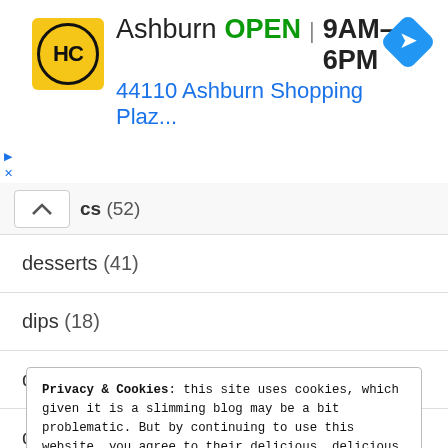[Figure (screenshot): Advertisement banner for HC store in Ashburn. Shows HC logo (yellow circle with HC text), store name Ashburn, OPEN status in green, hours 9AM-6PM, address 44110 Ashburn Shopping Plaz..., and a blue navigation diamond icon.]
cs (52)
desserts (41)
dips (18)
dressings (15)
drinks (11)
Privacy & Cookies: this site uses cookies, which given it is a slimming blog may be a bit problematic. But by continuing to use this website, you agree to their delicious, delicious use. Cookie Policy
Close and accept